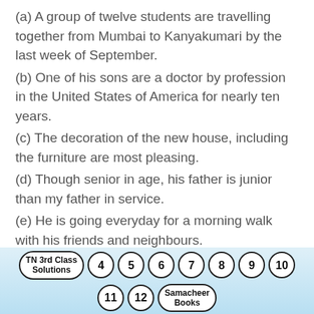(a) A group of twelve students are travelling together from Mumbai to Kanyakumari by the last week of September.
(b) One of his sons are a doctor by profession in the United States of America for nearly ten years.
(c) The decoration of the new house, including the furniture are most pleasing.
(d) Though senior in age, his father is junior than my father in service.
(e) He is going everyday for a morning walk with his friends and neighbours.
[Figure (infographic): Navigation bubbles at the bottom: TN 3rd Class Solutions, 4, 5, 6, 7, 8, 9, 10, 11, 12, Samacheer Books]